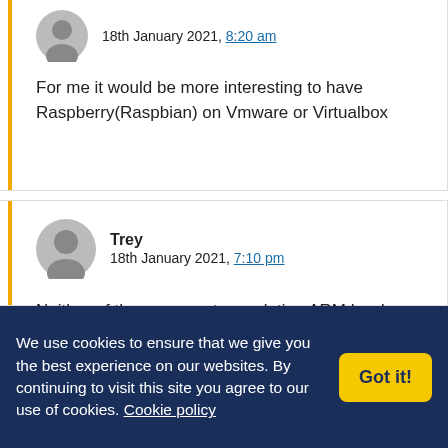18th January 2021, 8:20 am
For me it would be more interesting to have Raspberry(Raspbian) on Vmware or Virtualbox
Trey
18th January 2021, 7:10 pm
Neither of those supports emulating ARM hardware on x86 computers yet. But Qemu does
We use cookies to ensure that we give you the best experience on our websites. By continuing to visit this site you agree to our use of cookies. Cookie policy